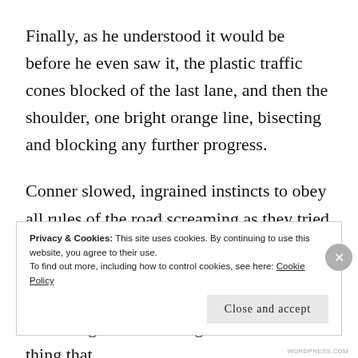Finally, as he understood it would be before he even saw it, the plastic traffic cones blocked of the last lane, and then the shoulder, one bright orange line, bisecting and blocking any further progress.
Conner slowed, ingrained instincts to obey all rules of the road screaming as they tried to process this logical contradiction. It didn't take long for him to decide. He knew he didn't want to be out here, alone, and unmoving, with the thing in the back. The thing that
Privacy & Cookies: This site uses cookies. By continuing to use this website, you agree to their use.
To find out more, including how to control cookies, see here: Cookie Policy
Close and accept
WORDPRESS.COM